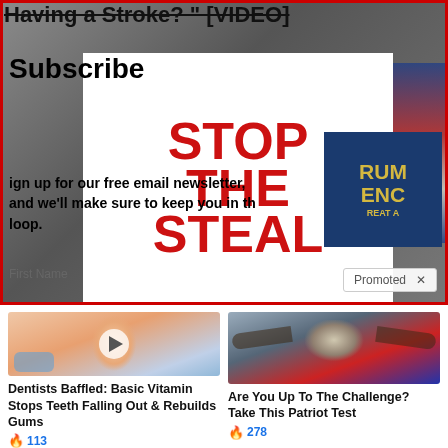Having a Stroke? " [VIDEO]
[Figure (screenshot): Screenshot of a video player showing a 'Stop the Steal' protest sign with overlay text 'Subscribe' and 'Sign up for our free email newsletter, and we'll make sure to keep you in the loop.' and a Promoted badge in the corner]
[Figure (photo): Thumbnail of a smiling woman at a dentist with a play button overlay]
Dentists Baffled: Basic Vitamin Stops Teeth Falling Out & Rebuilds Gums
113
[Figure (photo): Thumbnail of a bald eagle spreading wings in front of an American flag]
Are You Up To The Challenge? Take This Patriot Test
278